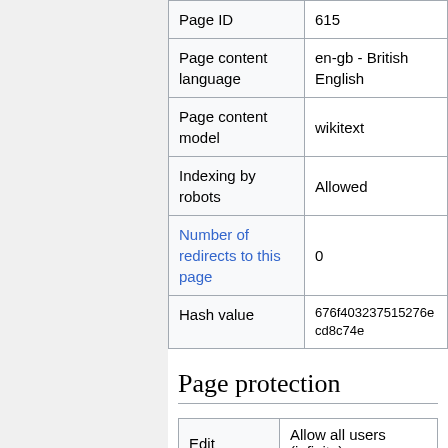| Property | Value |
| --- | --- |
| Page ID | 615 |
| Page content language | en-gb - British English |
| Page content model | wikitext |
| Indexing by robots | Allowed |
| Number of redirects to this page | 0 |
| Hash value | 676f403237515276ecd8c74e |
Page protection
| Action | Setting |
| --- | --- |
| Edit | Allow all users (infinite) |
| Move | Allow all users (infinite) |